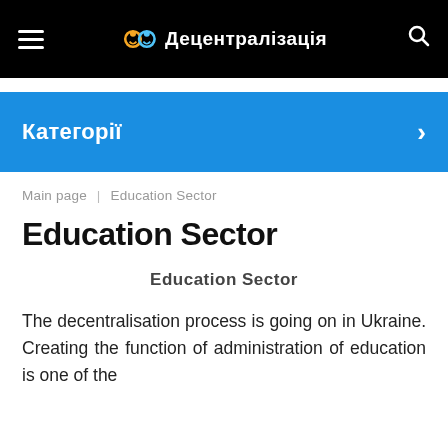Децентралізація
Категорії
Main page | Education Sector
Education Sector
Education Sector
The decentralisation process is going on in Ukraine. Creating the function of administration of education is one of the